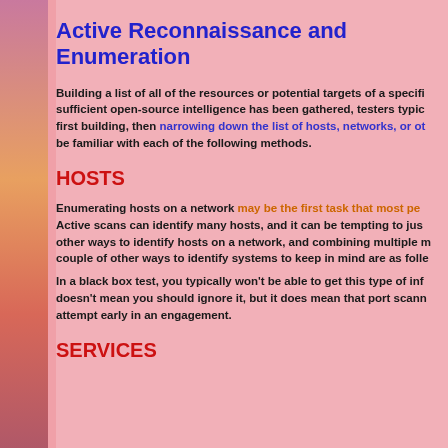Active Reconnaissance and Enumeration
Building a list of all of the resources or potential targets of a specific sufficient open-source intelligence has been gathered, testers typically first building, then narrowing down the list of hosts, networks, or other be familiar with each of the following methods.
HOSTS
Enumerating hosts on a network may be the first task that most per Active scans can identify many hosts, and it can be tempting to just other ways to identify hosts on a network, and combining multiple m couple of other ways to identify systems to keep in mind are as folle
In a black box test, you typically won't be able to get this type of inf doesn't mean you should ignore it, but it does mean that port scann attempt early in an engagement.
SERVICES